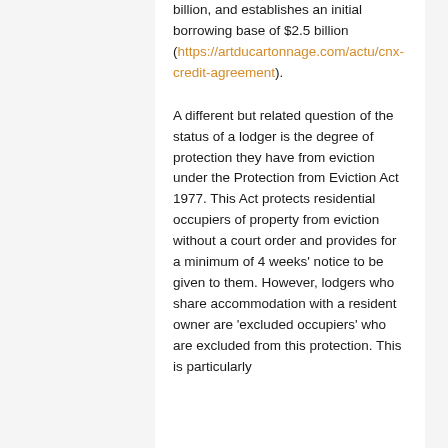billion, and establishes an initial borrowing base of $2.5 billion (https://artducartonnage.com/actu/cnx-credit-agreement).
A different but related question of the status of a lodger is the degree of protection they have from eviction under the Protection from Eviction Act 1977. This Act protects residential occupiers of property from eviction without a court order and provides for a minimum of 4 weeks' notice to be given to them. However, lodgers who share accommodation with a resident owner are 'excluded occupiers' who are excluded from this protection. This is particularly